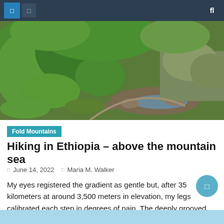Navigation bar with icons and search
[Figure (photo): Aerial/landscape view of Ethiopian mountain terrain with green vegetation, rocky stream, and lush hillsides]
Fold Mountains
Hiking in Ethiopia – above the mountain sea
June 14, 2022   Maria M. Walker
My eyes registered the gradient as gentle but, after 35 kilometers at around 3,500 meters in elevation, my legs calibrated each step in degrees of pain. The deeply grooved pony trail led through giant lobelias and huge Erica trees towards a sky that swirled and rumbled, threatening the rain. I found myself chanting my usual [...]